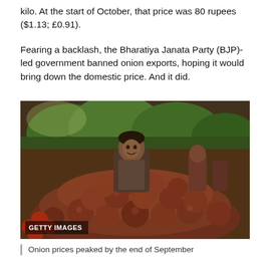kilo. At the start of October, that price was 80 rupees ($1.13; £0.91).
Fearing a backlash, the Bharatiya Janata Party (BJP)-led government banned onion exports, hoping it would bring down the domestic price. And it did.
[Figure (photo): A vendor stands behind a large pile of red/purple onions at an outdoor market, with tomatoes visible on the left and other market activity in the background. Trees visible behind the stall.]
Onion prices peaked by the end of September